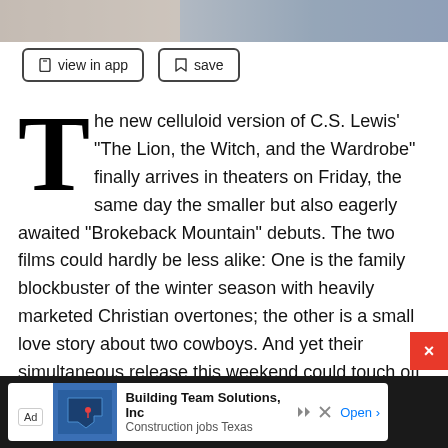[Figure (photo): Partial photo strip of people at top of page]
view in app
save
The new celluloid version of C.S. Lewis' "The Lion, the Witch, and the Wardrobe" finally arrives in theaters on Friday, the same day the smaller but also eagerly awaited "Brokeback Mountain" debuts. The two films could hardly be less alike: One is the family blockbuster of the winter season with heavily marketed Christian overtones; the other is a small love story about two cowboys. And yet their simultaneous release this weekend could touch off the year's first real box-office
[Figure (screenshot): Advertisement bar at bottom: Building Team Solutions, Inc - Construction jobs Texas - Open]